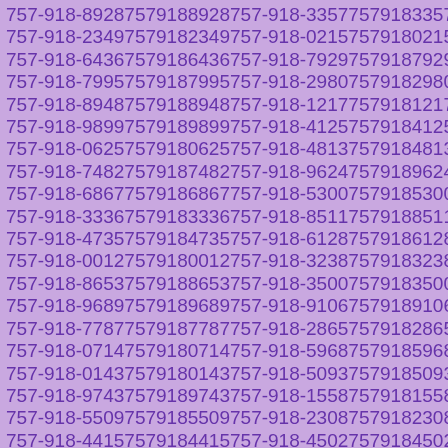757-918-8928 7579188928 757-918-3357 7579183357
757-918-2349 7579182349 757-918-0215 7579180215
757-918-6436 7579186436 757-918-7929 7579187929
757-918-7995 7579187995 757-918-2980 7579182980
757-918-8948 7579188948 757-918-1217 7579181217
757-918-9899 7579189899 757-918-4125 7579184125
757-918-0625 7579180625 757-918-4813 7579184813
757-918-7482 7579187482 757-918-9624 7579189624
757-918-6867 7579186867 757-918-5300 7579185300
757-918-3336 7579183336 757-918-8511 7579188511
757-918-4735 7579184735 757-918-6128 7579186128
757-918-0012 7579180012 757-918-3238 7579183238
757-918-8653 7579188653 757-918-3500 7579183500
757-918-9689 7579189689 757-918-9106 7579189106
757-918-7787 7579187787 757-918-2865 7579182865
757-918-0714 7579180714 757-918-5968 7579185968
757-918-0143 7579180143 757-918-5093 7579185093
757-918-9743 7579189743 757-918-1558 7579181558
757-918-5509 7579185509 757-918-2308 7579182308
757-918-4415 7579184415 757-918-4502 7579184502
757-918-4100 7579184100 757-918-???1 7579180001